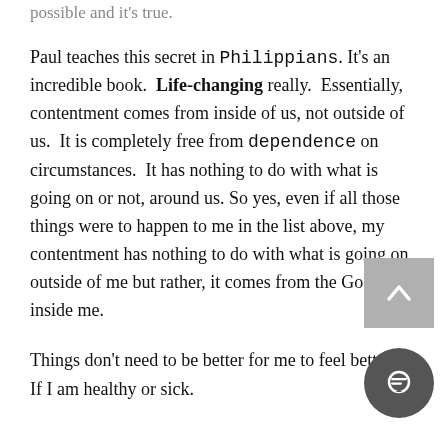possible and it's true.
Paul teaches this secret in Philippians. It's an incredible book. Life-changing really. Essentially, contentment comes from inside of us, not outside of us. It is completely free from dependence on circumstances. It has nothing to do with what is going on or not, around us. So yes, even if all those things were to happen to me in the list above, my contentment has nothing to do with what is going on outside of me but rather, it comes from the God inside me.
Things don't need to be better for me to feel better.
If I am healthy or sick.